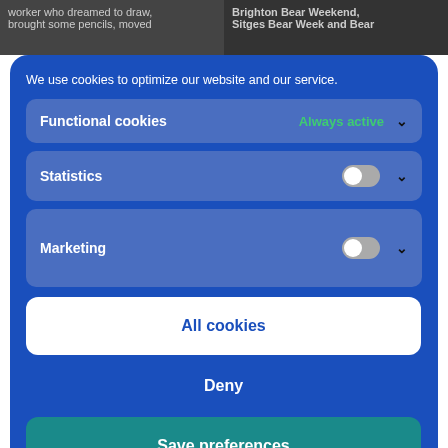worker who dreamed to draw, brought some pencils, moved
Brighton Bear Weekend, Sitges Bear Week and Bear
We use cookies to optimize our website and our service.
Functional cookies — Always active
Statistics
Marketing
All cookies
Deny
Save preferences
Cookie Policy   Privacy